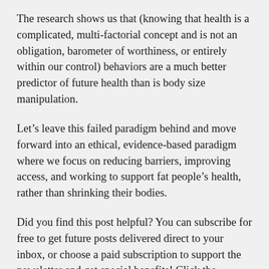The research shows us that (knowing that health is a complicated, multi-factorial concept and is not an obligation, barometer of worthiness, or entirely within our control) behaviors are a much better predictor of future health than is body size manipulation.
Let's leave this failed paradigm behind and move forward into an ethical, evidence-based paradigm where we focus on reducing barriers, improving access, and working to support fat people's health, rather than shrinking their bodies.
Did you find this post helpful? You can subscribe for free to get future posts delivered direct to your inbox, or choose a paid subscription to support the newsletter and get special benefits! Click the Subscribe button below for details: